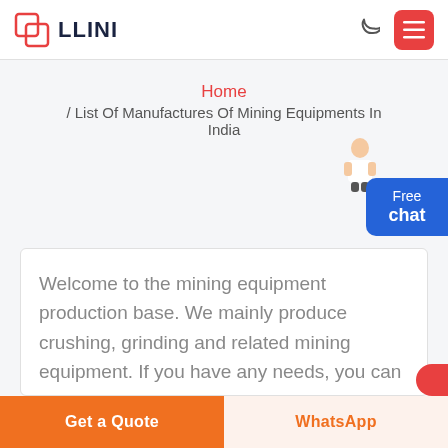LLINI
Home
/ List Of Manufactures Of Mining Equipments In India
Welcome to the mining equipment production base. We mainly produce crushing, grinding and related mining equipment. If you have any needs, you can
Get a Quote
WhatsApp